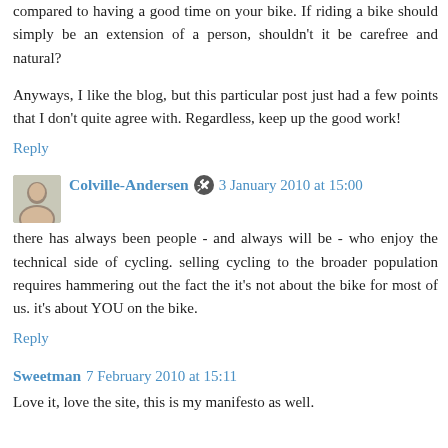compared to having a good time on your bike. If riding a bike should simply be an extension of a person, shouldn't it be carefree and natural?
Anyways, I like the blog, but this particular post just had a few points that I don't quite agree with. Regardless, keep up the good work!
Reply
Colville-Andersen  3 January 2010 at 15:00
there has always been people - and always will be - who enjoy the technical side of cycling. selling cycling to the broader population requires hammering out the fact the it's not about the bike for most of us. it's about YOU on the bike.
Reply
Sweetman  7 February 2010 at 15:11
Love it, love the site, this is my manifesto as well.